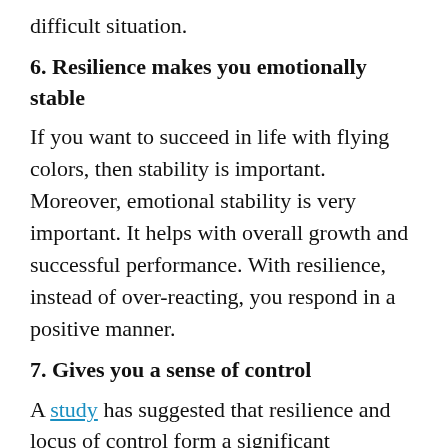difficult situation.
6. Resilience makes you emotionally stable
If you want to succeed in life with flying colors, then stability is important. Moreover, emotional stability is very important. It helps with overall growth and successful performance. With resilience, instead of over-reacting, you respond in a positive manner.
7. Gives you a sense of control
A study has suggested that resilience and locus of control form a significant